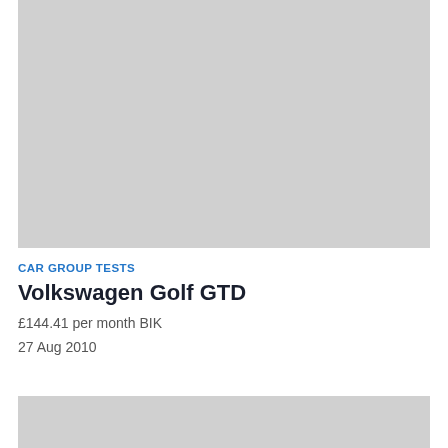[Figure (photo): Large grey placeholder image for a car photograph]
CAR GROUP TESTS
Volkswagen Golf GTD
£144.41 per month BIK
27 Aug 2010
[Figure (photo): Partial grey placeholder image for a second car photograph]